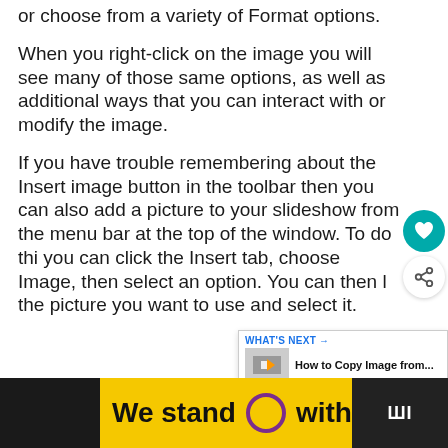or choose from a variety of Format options.
When you right-click on the image you will see many of those same options, as well as additional ways that you can interact with or modify the image.
If you have trouble remembering about the Insert image button in the toolbar then you can also add a picture to your slideshow from the menu bar at the top of the window. To do this you can click the Insert tab, choose Image, then select an option. You can then locate the picture you want to use and select it.
[Figure (screenshot): Ad banner: yellow background with text 'We stand O with you.' and a circular purple ring logo, black sections on left and right, close button, Paramount+ logo]
[Figure (other): Social overlay buttons: teal heart button and white share button on right side]
[Figure (screenshot): What's Next panel: 'How to Copy Image from...' with thumbnail]